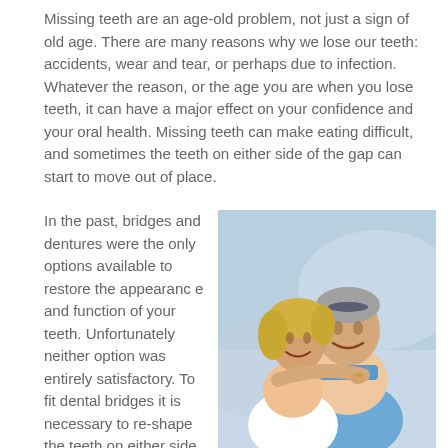Missing teeth are an age-old problem, not just a sign of old age. There are many reasons why we lose our teeth: accidents, wear and tear, or perhaps due to infection. Whatever the reason, or the age you are when you lose teeth, it can have a major effect on your confidence and your oral health. Missing teeth can make eating difficult, and sometimes the teeth on either side of the gap can start to move out of place.
In the past, bridges and dentures were the only options available to restore the appearance and function of your teeth. Unfortunately neither option was entirely satisfactory. To fit dental bridges it is necessary to re-shape the teeth on either side of the gap to fix crowns in place.
[Figure (photo): A smiling middle-aged couple outdoors, woman with short blonde hair in white top, man in light blue polo shirt, blue sky and water in background.]